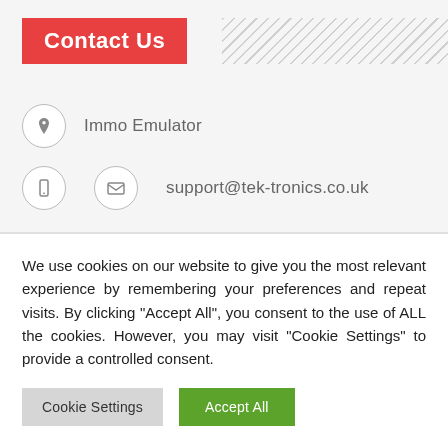Contact Us
Immo Emulator
support@tek-tronics.co.uk
We use cookies on our website to give you the most relevant experience by remembering your preferences and repeat visits. By clicking "Accept All", you consent to the use of ALL the cookies. However, you may visit "Cookie Settings" to provide a controlled consent.
Cookie Settings    Accept All